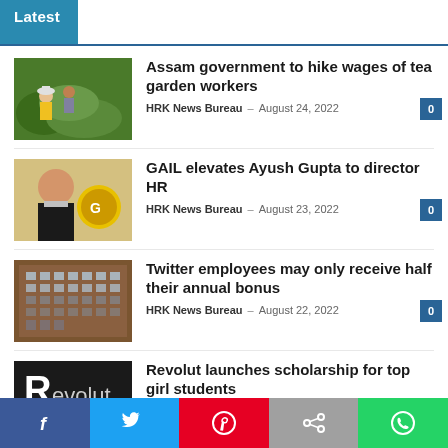Latest
Assam government to hike wages of tea garden workers
HRK News Bureau – August 24, 2022
GAIL elevates Ayush Gupta to director HR
HRK News Bureau – August 23, 2022
Twitter employees may only receive half their annual bonus
HRK News Bureau – August 22, 2022
Revolut launches scholarship for top girl students